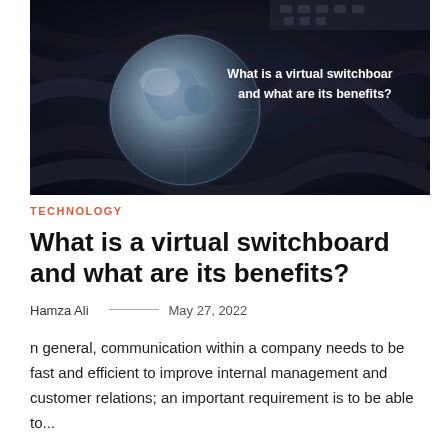[Figure (photo): Dark moody background with tangled cables/cords and a glass globe showing Earth, with white bold text overlay reading 'What is a virtual switchboard and what are its benefits?']
TECHNOLOGY
What is a virtual switchboard and what are its benefits?
Hamza Ali — May 27, 2022
n general, communication within a company needs to be fast and efficient to improve internal management and customer relations; an important requirement is to be able to...